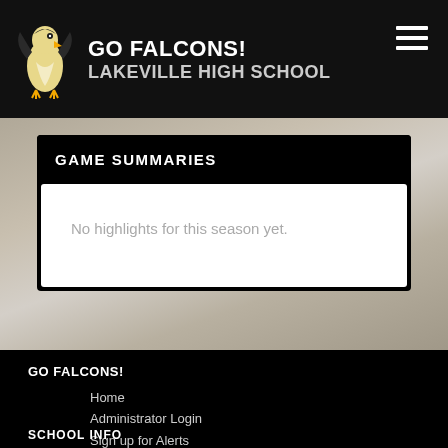GO FALCONS! LAKEVILLE HIGH SCHOOL
GAME SUMMARIES
No highlights for this season yet.
GO FALCONS!
Home
Administrator Login
Sign up for Alerts
Contact Us
SCHOOL INFO